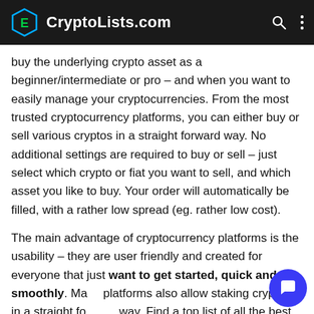CryptoLists.com
buy the underlying crypto asset as a beginner/intermediate or pro – and when you want to easily manage your cryptocurrencies. From the most trusted cryptocurrency platforms, you can either buy or sell various cryptos in a straight forward way. No additional settings are required to buy or sell – just select which crypto or fiat you want to sell, and which asset you like to buy. Your order will automatically be filled, with a rather low spread (eg. rather low cost).
The main advantage of cryptocurrency platforms is the usability – they are user friendly and created for everyone that just want to get started, quick and smoothly. Many platforms also allow staking cryptos in a straight forward way. Find a top list of all the best best cryptocurrency